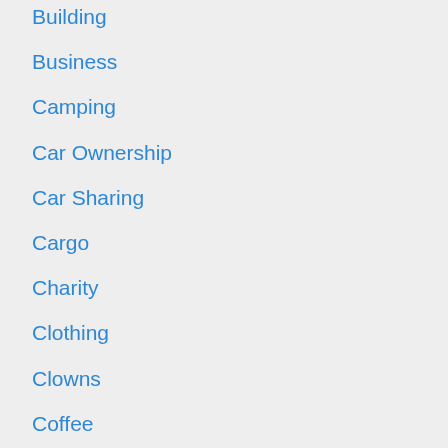Building
Business
Camping
Car Ownership
Car Sharing
Cargo
Charity
Clothing
Clowns
Coffee
Commerce
Communication
Commuting
Contemplation